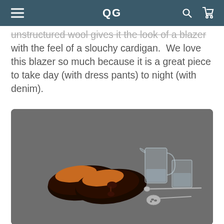QG
unstructured wool gives it the look of a blazer with the feel of a slouchy cardigan.  We love this blazer so much because it is a great piece to take day (with dress pants) to night (with denim).
[Figure (photo): Flat lay photo on gray background showing a pair of dark brown tassel loafers, a glass cocktail pitcher, a short tumbler glass, a long bar mixing spoon, and a slotted cocktail spoon.]